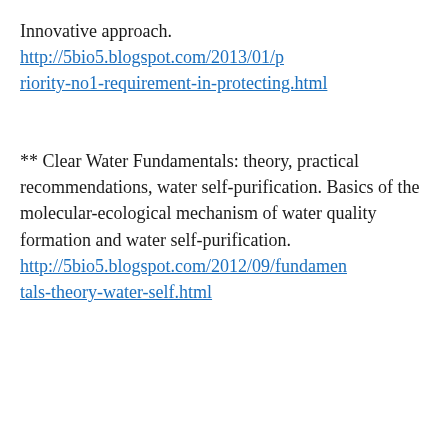Innovative approach. http://5bio5.blogspot.com/2013/01/priority-no1-requirement-in-protecting.html
** Clear Water Fundamentals: theory, practical recommendations, water self-purification. Basics of the molecular-ecological mechanism of water quality formation and water self-purification. http://5bio5.blogspot.com/2012/09/fundamentals-theory-water-self.html